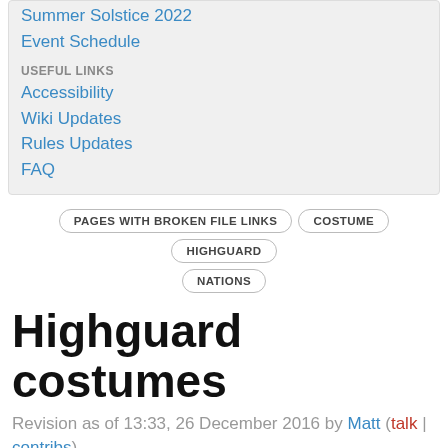Event Schedule
USEFUL LINKS
Accessibility
Wiki Updates
Rules Updates
FAQ
PAGES WITH BROKEN FILE LINKS   COSTUME   HIGHGUARD   NATIONS
Highguard costumes
Revision as of 13:33, 26 December 2016 by Matt (talk | contribs)
(diff) ← Older revision | Latest